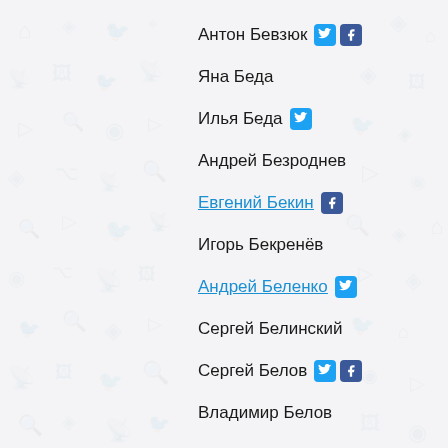Антон Бевзюк [twitter] [facebook]
Яна Беда
Илья Беда [twitter]
Андрей Безроднев
Евгений Бекин [facebook]
Игорь Бекренёв
Андрей Беленко [twitter]
Сергей Белинский
Сергей Белов [twitter] [facebook]
Владимир Белов